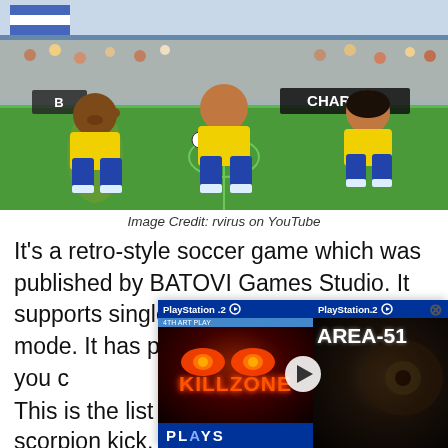[Figure (screenshot): Screenshot of a retro-style soccer video game showing three cartoon-style player characters in yellow and blue uniforms on a green soccer field with a stadium crowd in the background. A banner reading 'CHARRUA' is visible.]
Image Credit: rvirus on YouTube
It's a retro-style soccer game which was published by BATOVI Games Studio. It supports single-player as well as PvP mode. It has players of both genders and you can play mixed soccer too. There are lots of moves like bicycle kick, scorpion kick, dividing header, etc.
[Figure (screenshot): Popup showing two PlayStation 2 game covers: Killzone (with glowing red eyes) on the left with a PLAYS bar at bottom, and Area 51 on the right, with a play button arrow in the middle.]
This is the list of best footb